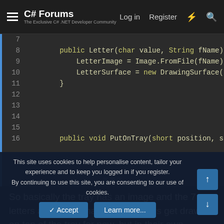C# Forums — The Exclusive C# .NET Developer Community | Log in | Register
[Figure (screenshot): Code editor screenshot showing C# class constructor and method stub. Lines 7-16 visible: line 8 shows 'public Letter(char value, String fName)', line 9 'LetterImage = Image.FromFile(fName)', line 10 'LetterSurface = new DrawingSurface(', line 11 '}', lines 12-15 blank, line 16 'public void PutOnTray(short position, sh']
So basically the tray has an image and the 7 letters also have images. The letters get drawn on top of the tray for now, but in their own pictureboxes. I added a draw method to tray and
This site uses cookies to help personalise content, tailor your experience and to keep you logged in if you register.
By continuing to use this site, you are consenting to our use of cookies.